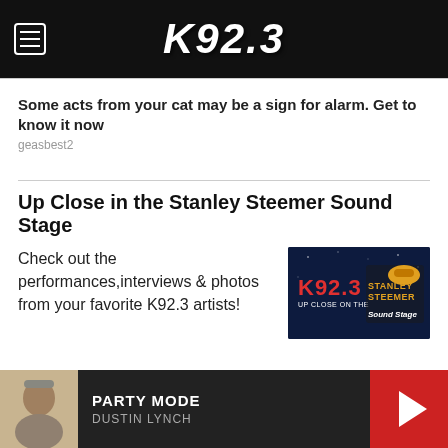K92.3
Some acts from your cat may be a sign for alarm. Get to know it now
geasbest2
Up Close in the Stanley Steemer Sound Stage
Check out the performances,interviews & photos from your favorite K92.3 artists!
[Figure (logo): K92.3 Up Close on the Stanley Steemer Sound Stage logo on dark background]
PARTY MODE — DUSTIN LYNCH